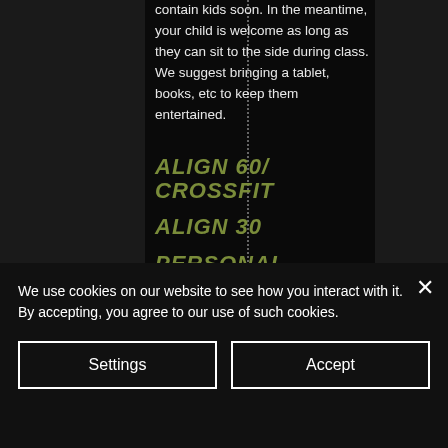contain kids soon. In the meantime, your child is welcome as long as they can sit to the side during class. We suggest bringing a tablet, books, etc to keep them entertained.
ALIGN 60/ CROSSFIT
ALIGN 30
PERSONAL TRAINING
We use cookies on our website to see how you interact with it. By accepting, you agree to our use of such cookies.